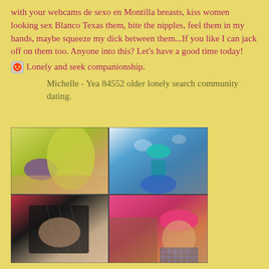with your webcams de sexo en Montilla breasts, kiss women looking sex Blanco Texas them, bite the nipples, feel them in my hands, maybe squeeze my dick between them...If you like I can jack off on them too. Anyone into this? Let's have a good time today!
Lonely and seek companionship.
Michelle - Yea 84552 older lonely search community dating.
[Figure (photo): Grid of four photos showing women in various poses and outfits]